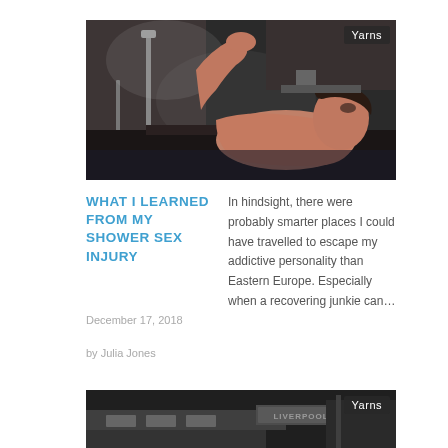[Figure (photo): Woman in bath/shower with leg raised, steam, moody lighting]
WHAT I LEARNED FROM MY SHOWER SEX INJURY
December 17, 2018
by Julia Jones
In hindsight, there were probably smarter places I could have travelled to escape my addictive personality than Eastern Europe. Especially when a recovering junkie can…
[Figure (photo): Black and white street scene with Liverpool sign, bus or transit]